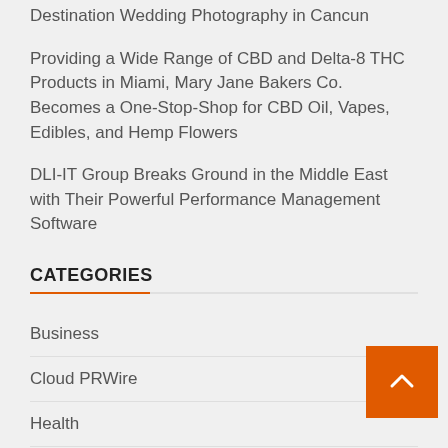Destination Wedding Photography in Cancun
Providing a Wide Range of CBD and Delta-8 THC Products in Miami, Mary Jane Bakers Co. Becomes a One-Stop-Shop for CBD Oil, Vapes, Edibles, and Hemp Flowers
DLI-IT Group Breaks Ground in the Middle East with Their Powerful Performance Management Software
CATEGORIES
Business
Cloud PRWire
Health
Press Release